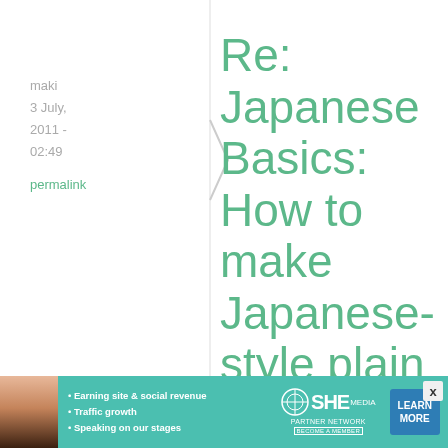maki
3 July,
2011 -
02:49
permalink
Re: Japanese Basics: How to make Japanese-style plain rice ...
Many factors
[Figure (infographic): SHE Partner Network advertisement banner with photo, bullet points, logo and Learn More button]